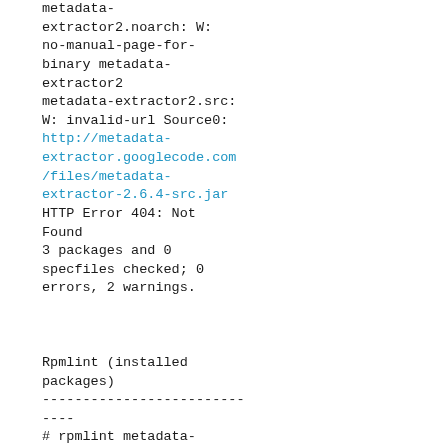metadata-extractor2.noarch: W: no-manual-page-for-binary metadata-extractor2
metadata-extractor2.src: W: invalid-url Source0: http://metadata-extractor.googlecode.com/files/metadata-extractor-2.6.4-src.jar HTTP Error 404: Not Found
3 packages and 0 specfiles checked; 0 errors, 2 warnings.



Rpmlint (installed packages)
----------------------------
# rpmlint metadata-extractor2-javadoc metadata-extractor2 metadata-extractor2.noarch: W: no-manual-page-for-